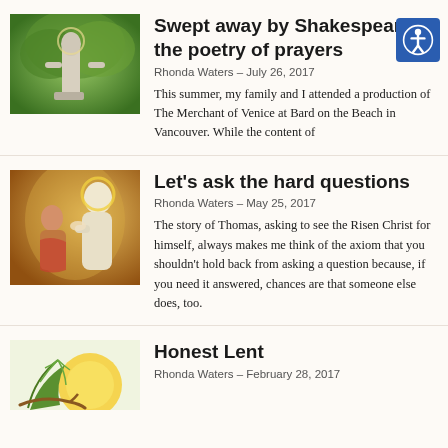[Figure (photo): Outdoor stone statue of a religious figure (Saint) among green foliage]
Swept away by Shakespeare, the poetry of prayers
Rhonda Waters – July 26, 2017
This summer, my family and I attended a production of The Merchant of Venice at Bard on the Beach in Vancouver. While the content of
[Figure (photo): Religious painting showing two figures, one bowing before a robed figure, warm golden tones]
Let's ask the hard questions
Rhonda Waters – May 25, 2017
The story of Thomas, asking to see the Risen Christ for himself, always makes me think of the axiom that you shouldn't hold back from asking a question because, if you need it answered, chances are that someone else does, too.
[Figure (illustration): Illustration of palm fronds and a golden sun, Lent theme]
Honest Lent
Rhonda Waters – February 28, 2017